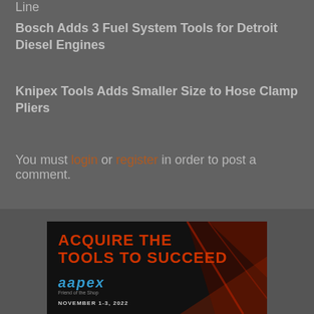Line
Bosch Adds 3 Fuel System Tools for Detroit Diesel Engines
Knipex Tools Adds Smaller Size to Hose Clamp Pliers
You must login or register in order to post a comment.
[Figure (advertisement): AAPEX advertisement with text 'ACQUIRE THE TOOLS TO SUCCEED', aapex logo in blue, and date NOVEMBER 1-3, 2022 on dark background with red geometric elements]